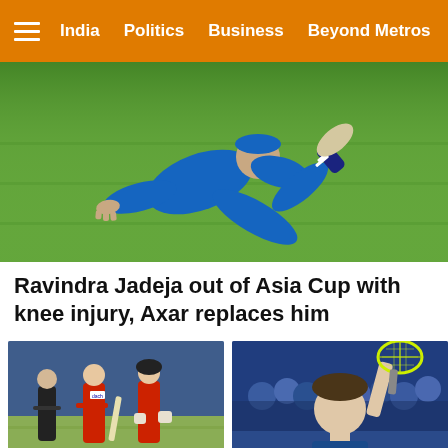India  Politics  Business  Beyond Metros
[Figure (photo): Cricket player in blue India uniform diving on grass field during fielding attempt]
Ravindra Jadeja out of Asia Cup with knee injury, Axar replaces him
[Figure (photo): England cricket players in red uniforms on field during T20I match]
England name 19-player squad for seven-match T20I series against
[Figure (photo): Tennis player raising racket above head in celebration at US Open]
US Open: 36-year-old Gasquet advances, Dimitrov crashes out in